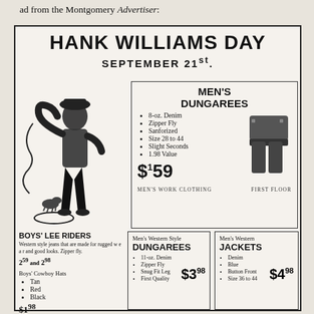ad from the Montgomery Advertiser:
HANK WILLIAMS DAY
SEPTEMBER 21st.
[Figure (illustration): Illustration of a cowboy with lasso]
MEN'S DUNGAREES
8-oz. Denim
Zipper Fly
Sanforized
Size 28 to 44
Slight Seconds
1.98 Value
$1.59
MEN'S WORK CLOTHING    FIRST FLOOR
BOYS' LEE RIDERS
Western style jeans that are made for rugged wear and good looks. Zipper fly.
2.59 and 2.98
Boys' Cowboy Hats
Tan
Red
Black
$1.98
Men's Western Style DUNGAREES
11-oz. Denim
Zipper Fly
Snug Fit Leg
First Quality
$3.98
Men's Western JACKETS
Denim
Blue
Button Front
Size 36 to 44
$4.98
[Figure (photo): Bottom row of product images]
[Figure (photo): Bottom center product image]
[Figure (photo): Bottom right product image]